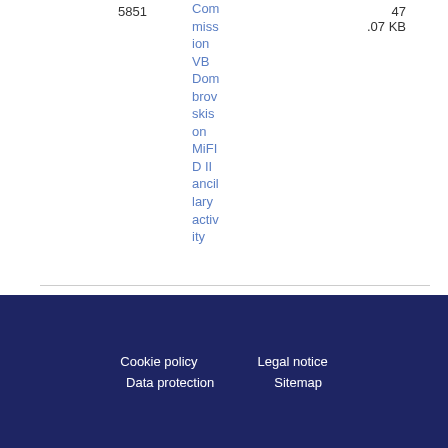| Number | Link | Size |
| --- | --- | --- |
| 5851 | Commission VB Dombrovskis on MiFID II ancillary activity | 47.07 KB |
Cookie policy | Legal notice | Data protection | Sitemap